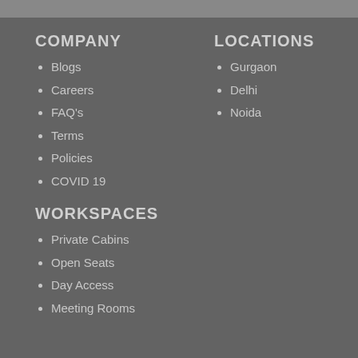COMPANY
Blogs
Careers
FAQ's
Terms
Policies
COVID 19
LOCATIONS
Gurgaon
Delhi
Noida
WORKSPACES
Private Cabins
Open Seats
Day Access
Meeting Rooms